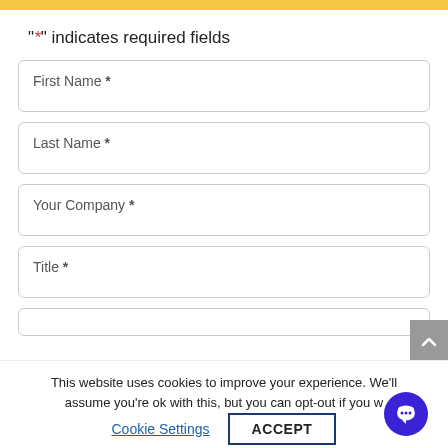"*" indicates required fields
First Name *
Last Name *
Your Company *
Title *
This website uses cookies to improve your experience. We'll assume you're ok with this, but you can opt-out if you wish.
Cookie Settings
ACCEPT